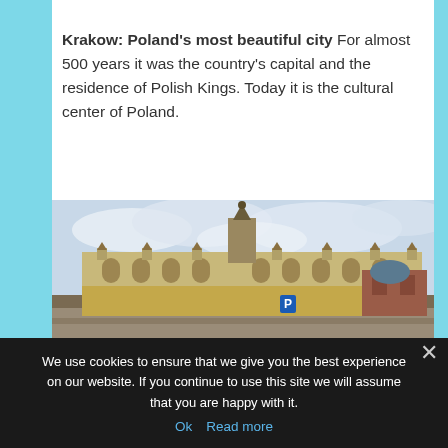Krakow: Poland's most beautiful city For almost 500 years it was the country's capital and the residence of Polish Kings. Today it is the cultural center of Poland.
[Figure (photo): Photograph of a large ornate historical building in Krakow, Poland — the Cloth Hall (Sukiennice) on the Main Market Square, with a cloudy sky background.]
We use cookies to ensure that we give you the best experience on our website. If you continue to use this site we will assume that you are happy with it.
Ok  Read more